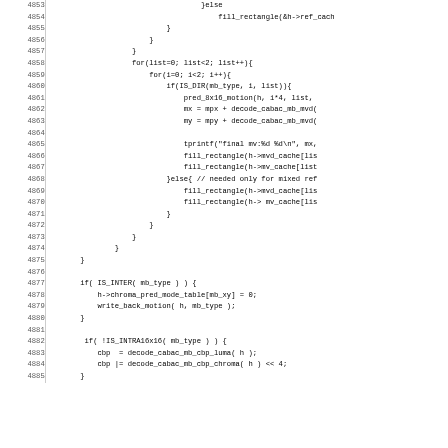[Figure (other): Source code listing in C, lines 4853–4885, showing nested for-loops and if/else branches for motion vector decoding (CABAC), including fill_rectangle, pred_8x16_motion, decode_cabac_mb_mvd, tprintf, IS_INTER, IS_INTRA16x16 function calls]